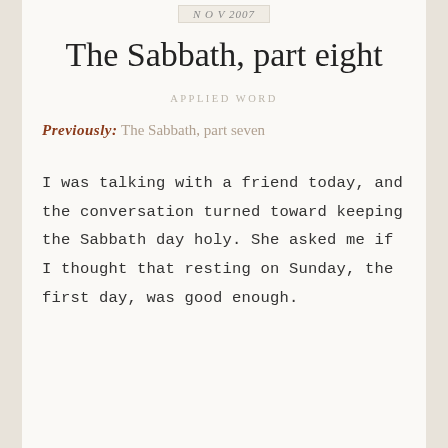NOV 2007
The Sabbath, part eight
APPLIED WORD
Previously: The Sabbath, part seven
I was talking with a friend today, and the conversation turned toward keeping the Sabbath day holy. She asked me if I thought that resting on Sunday, the first day, was good enough.